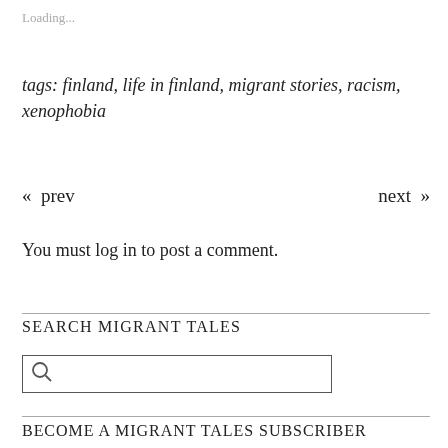Loading...
tags: finland, life in finland, migrant stories, racism, xenophobia
«  prev
next  »
You must log in to post a comment.
SEARCH MIGRANT TALES
BECOME A MIGRANT TALES SUBSCRIBER